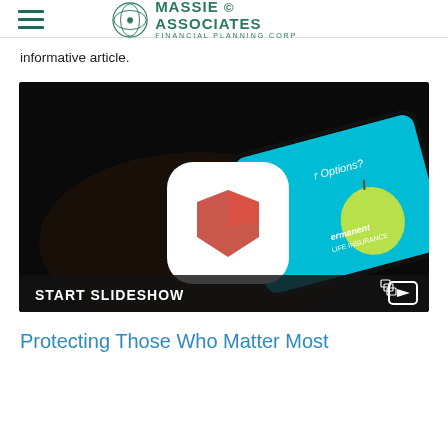MASSIE & ASSOCIATES FINANCIAL PLANNING CORP
informative article.
[Figure (screenshot): A dark photo of a hand holding a tablet displaying a life insurance slideshow. A white shield icon is overlaid in the center. The bottom bar reads 'START SLIDESHOW' with a video icon on the right.]
Protecting Those Who Matter Most